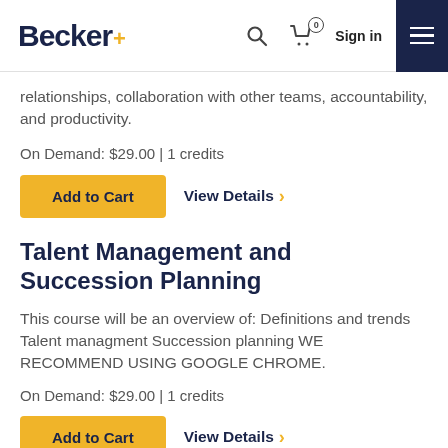[Figure (logo): Becker+ logo in dark navy with yellow plus sign, search icon, cart icon with 0 badge, Sign in text, and navy hamburger menu]
relationships, collaboration with other teams, accountability, and productivity.
On Demand: $29.00 | 1 credits
Add to Cart
View Details
Talent Management and Succession Planning
This course will be an overview of: Definitions and trends Talent managment Succession planning WE RECOMMEND USING GOOGLE CHROME.
On Demand: $29.00 | 1 credits
Add to Cart
View Details